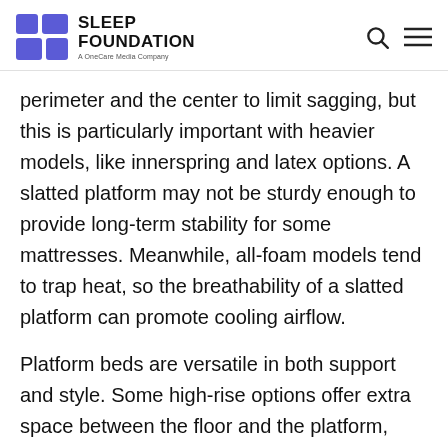SLEEP FOUNDATION — A OneCare Media Company
perimeter and the center to limit sagging, but this is particularly important with heavier models, like innerspring and latex options. A slatted platform may not be sturdy enough to provide long-term stability for some mattresses. Meanwhile, all-foam models tend to trap heat, so the breathability of a slatted platform can promote cooling airflow.
Platform beds are versatile in both support and style. Some high-rise options offer extra space between the floor and the platform, while others are constructed with built-in storage and drawers. Floating platform beds obscure their supportive legs to give the illusion that the platform is hovering